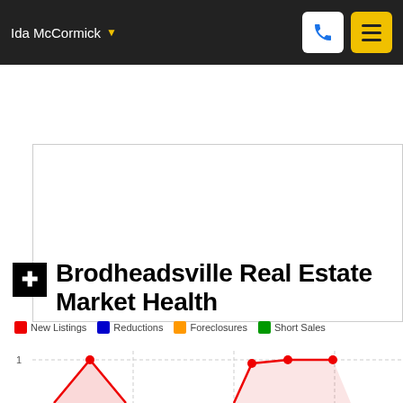Ida McCormick
[Figure (other): White advertisement/image box placeholder]
Brodheadsville Real Estate Market Health
[Figure (area-chart): Partially visible area/line chart showing real estate market health metrics over time with a y-axis value of 1 visible]